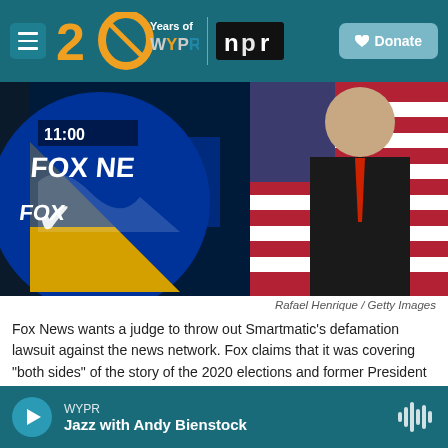WYPR — 20 Years of WYPR | NPR | ♥ Donate
[Figure (photo): Fox News microphone in foreground with a blurred person in dark suit and red tie behind an American flag in the background. Text '11:00' and 'FOX NE' visible on screen.]
Rafael Henrique / Getty Images
Fox News wants a judge to throw out Smartmatic's defamation lawsuit against the news network. Fox claims that it was covering "both sides" of the story of the 2020 elections and former President Trump's debunked claims that the election was rigged.
Fox News on Monday asked a judge to dismiss a
WYPR — Jazz with Andy Bienstock